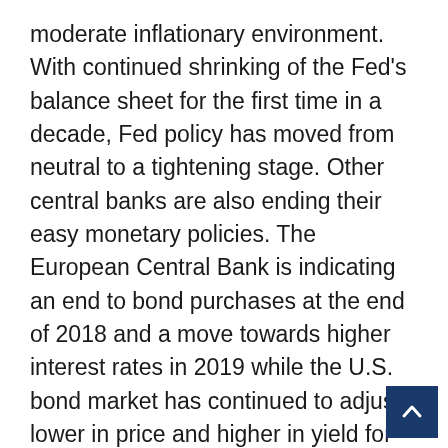moderate inflationary environment. With continued shrinking of the Fed's balance sheet for the first time in a decade, Fed policy has moved from neutral to a tightening stage. Other central banks are also ending their easy monetary policies. The European Central Bank is indicating an end to bond purchases at the end of 2018 and a move towards higher interest rates in 2019 while the U.S. bond market has continued to adjust lower in price and higher in yield for short-term maturities. Longer-term bond yields remain stubbornly lower than the Fed's projections for future rate increases with the 10-year Treasury currently at 2.83%. The spread between short and long-term rates is at a low of .26% from .60%. Experts continue to debate this as a condition related to the Fed's reversal of near-zero interest rate policies after the Financial Crisis of 200